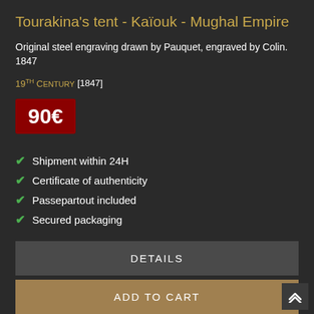Tourakina's tent - Kaïouk - Mughal Empire
Original steel engraving drawn by Pauquet, engraved by Colin. 1847
19th Century [1847]
90€
Shipment within 24H
Certificate of authenticity
Passepartout included
Secured packaging
DETAILS
ADD TO CART